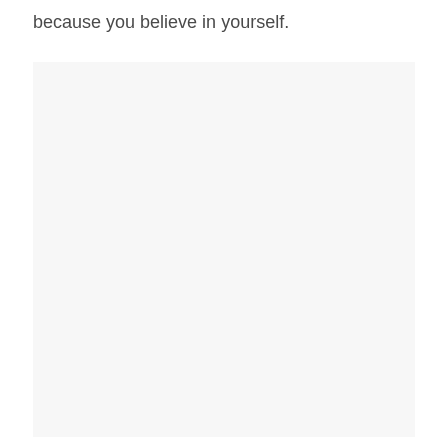because you believe in yourself.
[Figure (other): A large light gray/off-white blank rectangular area, likely a placeholder for an image.]